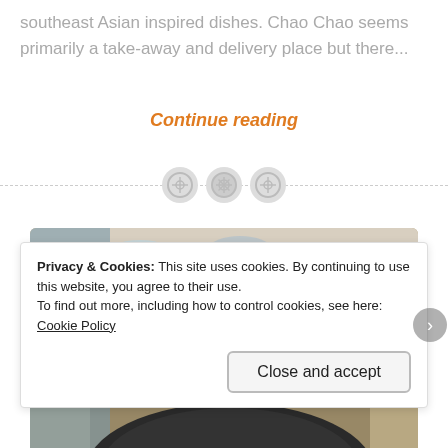southeast Asian inspired dishes. Chao Chao seems primarily a take-away and delivery place but there...
Continue reading
[Figure (other): Decorative divider with three circular icon buttons on a dashed horizontal line]
[Figure (photo): Restaurant table setting with wine glasses, plate with food (scallops or similar), woven placemat]
Privacy & Cookies: This site uses cookies. By continuing to use this website, you agree to their use.
To find out more, including how to control cookies, see here: Cookie Policy
Close and accept